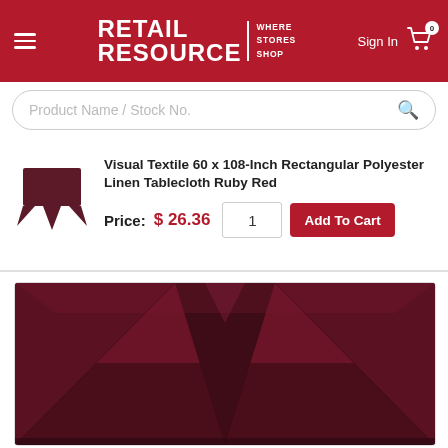RETAIL RESOURCE WHERE STORES SHOP | Sign In | Cart 0
Product Name / Stock No.
Visual Textile 60 x 108-Inch Rectangular Polyester Linen Tablecloth Ruby Red
Price: $ 26.36
[Figure (photo): Ruby red rectangular polyester linen tablecloth draped over a table, showing deep burgundy/ruby red color with gentle folds and highlights.]